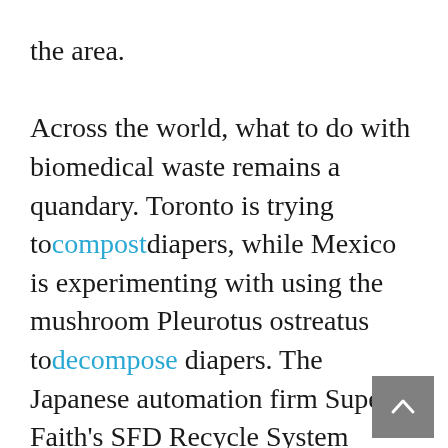the area. Across the world, what to do with biomedical waste remains a quandary. Toronto is trying to compost diapers, while Mexico is experimenting with using the mushroom Pleurotus ostreatus to decompose diapers. The Japanese automation firm Super Faith's SFD Recycle System shreds, dries and sterilizes diapers, and turns them into bacteria-free material for making